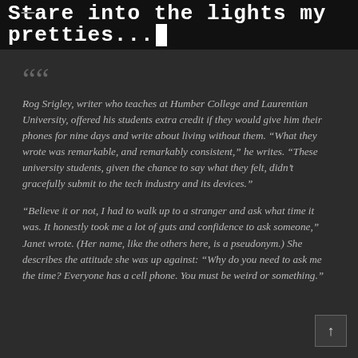Stare into the lights my pretties...
Rog Srigley, writer who teaches at Humber College and Laurentian University, offered his students extra credit if they would give him their phones for nine days and write about living without them. “What they wrote was remarkable, and remarkably consistent,” he writes. “These university students, given the chance to say what they felt, didn’t gracefully submit to the tech industry and its devices.”
“Believe it or not, I had to walk up to a stranger and ask what time it was. It honestly took me a lot of guts and confidence to ask someone,” Janet wrote. (Her name, like the others here, is a pseudonym.) She describes the attitude she was up against: “Why do you need to ask me the time? Everyone has a cell phone. You must be weird or something.”